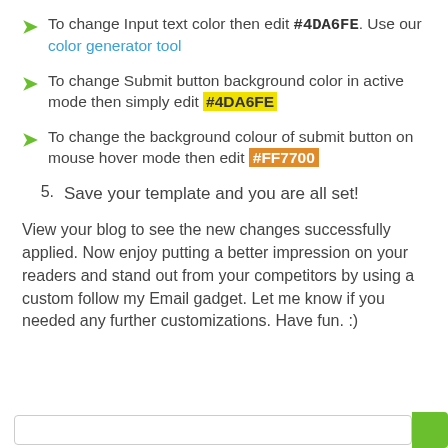To change Input text color then edit #4DA6FE. Use our color generator tool
To change Submit button background color in active mode then simply edit #4DA6FE
To change the background colour of submit button on mouse hover mode then edit #FF7700
5. Save your template and you are all set!
View your blog to see the new changes successfully applied. Now enjoy putting a better impression on your readers and stand out from your competitors by using a custom follow my Email gadget. Let me know if you needed any further customizations. Have fun. :)